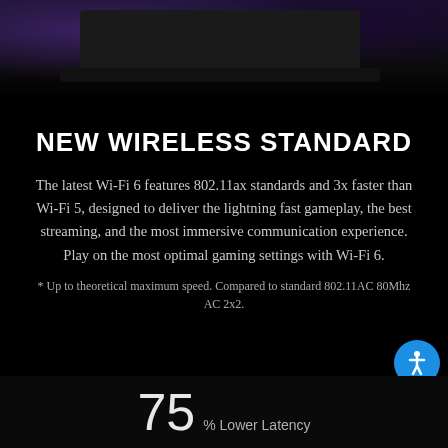[Figure (photo): Dark product photo showing a laptop on a dark background with purple/dark lighting from above]
NEW WIRELESS STANDARD
The latest Wi-Fi 6 features 802.11ax standards and 3x faster than Wi-Fi 5, designed to deliver the lightning fast gameplay, the best streaming, and the most immersive communication experience. Play on the most optimal gaming settings with Wi-Fi 6.
* Up to theoretical maximum speed. Compared to standard 802.11AC 80Mhz AC 2x2.
75 % Lower Latency